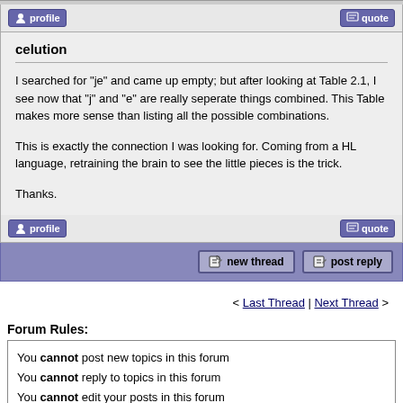celution
I searched for "je" and came up empty; but after looking at Table 2.1, I see now that "j" and "e" are really seperate things combined. This Table makes more sense than listing all the possible combinations.

This is exactly the connection I was looking for. Coming from a HL language, retraining the brain to see the little pieces is the trick.

Thanks.
< Last Thread | Next Thread >
Forum Rules:
You cannot post new topics in this forum
You cannot reply to topics in this forum
You cannot edit your posts in this forum
You cannot delete your posts in this forum
You cannot vote in polls in this forum
You cannot attach files in this forum
You can download files in this forum